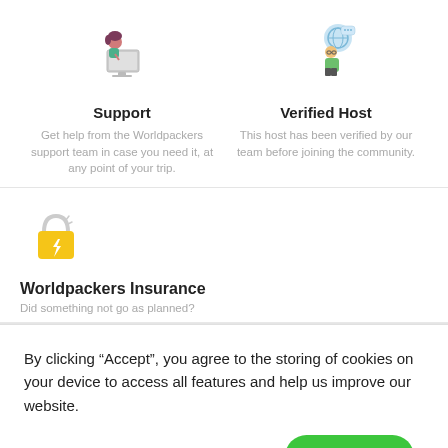[Figure (illustration): Illustration of a person at a computer, representing support]
Support
Get help from the Worldpackers support team in case you need it, at any point of your trip.
[Figure (illustration): Illustration of a person with a badge, representing a verified host]
Verified Host
This host has been verified by our team before joining the community.
[Figure (illustration): Illustration of a padlock with a lightning bolt, representing insurance]
Worldpackers Insurance
Did something not go as planned?
By clicking “Accept”, you agree to the storing of cookies on your device to access all features and help us improve our website.
Cookies settings
Accept